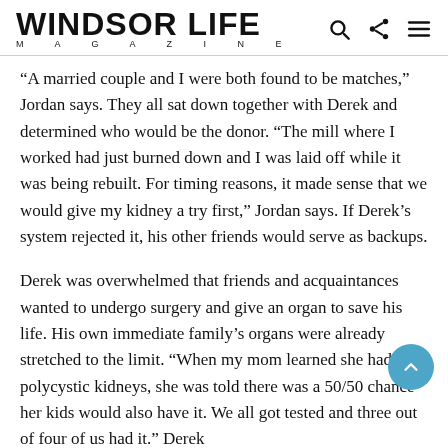WINDSOR LIFE MAGAZINE
“A married couple and I were both found to be matches,” Jordan says. They all sat down together with Derek and determined who would be the donor. “The mill where I worked had just burned down and I was laid off while it was being rebuilt. For timing reasons, it made sense that we would give my kidney a try first,” Jordan says. If Derek’s system rejected it, his other friends would serve as backups.
Derek was overwhelmed that friends and acquaintances wanted to undergo surgery and give an organ to save his life. His own immediate family’s organs were already stretched to the limit. “When my mom learned she had polycystic kidneys, she was told there was a 50/50 chance her kids would also have it. We all got tested and three out of four of us had it.” Derek was born 1998 by other Derek previously had